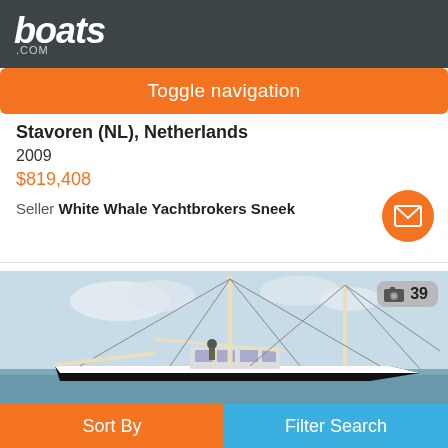boats.com
Toggle navigation
Stavoren (NL), Netherlands
2009
$819,408
Seller White Whale Yachtbrokers Sneek
[Figure (photo): A sailing yacht with two masts on the water, one person visible on deck, white hull with dark lower hull, photographed from the side against a light sky]
Sort By  Filter Search